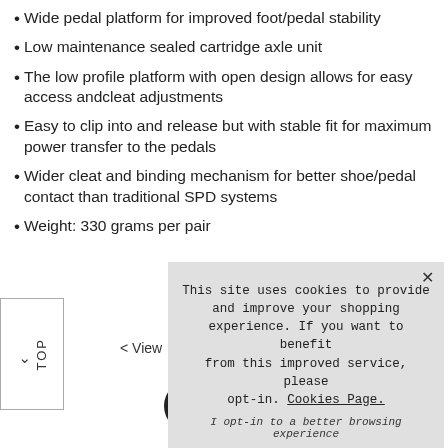Wide pedal platform for improved foot/pedal stability
Low maintenance sealed cartridge axle unit
The low profile platform with open design allows for easy access andcleat adjustments
Easy to clip into and release but with stable fit for maximum power transfer to the pedals
Wider cleat and binding mechanism for better shoe/pedal contact than traditional SPD systems
Weight: 330 grams per pair
[Figure (screenshot): Cookie consent popup with message about cookies, opt-in link, and Accept Cookies button]
< View
[Figure (logo): Facebook social media icon - circular black button with white 'f']